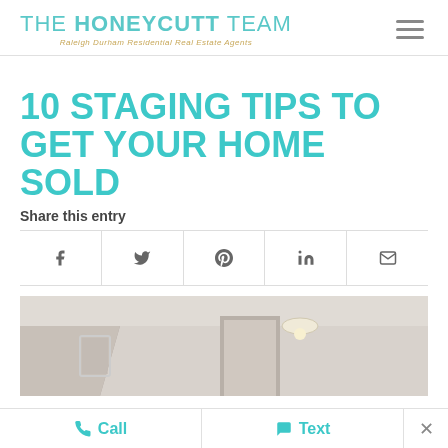THE HONEYCUTT TEAM — Raleigh Durham Residential Real Estate Agents
10 STAGING TIPS TO GET YOUR HOME SOLD
Share this entry
[Figure (screenshot): Social share icons row: Facebook, Twitter, Pinterest, LinkedIn, Email]
[Figure (photo): Interior photo of a home room with white ceiling, light walls and ceiling light fixture]
Call   Text   ×